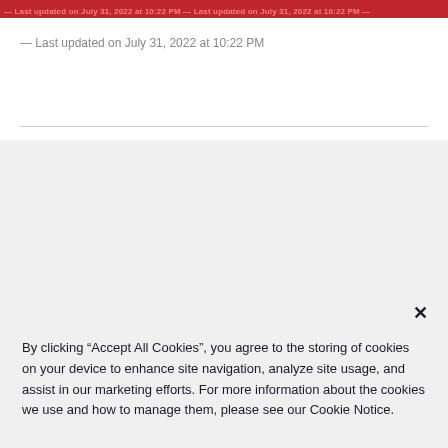— Last updated on July 31, 2022 at 10:22 PM
— Last updated on July 31, 2022 at 10:22 PM
By clicking “Accept All Cookies”, you agree to the storing of cookies on your device to enhance site navigation, analyze site usage, and assist in our marketing efforts. For more information about the cookies we use and how to manage them, please see our Cookie Notice.
Accept cookies
Privacy policy